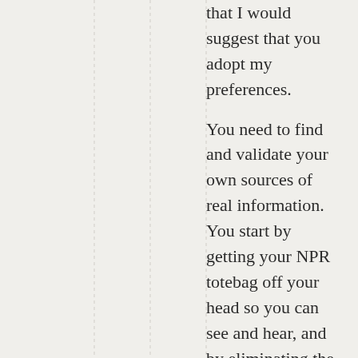that I would suggest that you adopt my preferences.
You need to find and validate your own sources of real information. You start by getting your NPR totebag off your head so you can see and hear, and by eliminating the MSM as primary sources. It is not